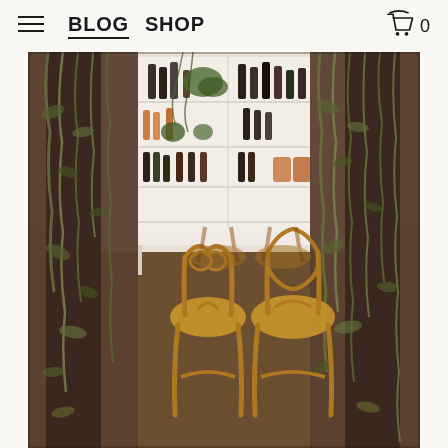BLOG  SHOP  0
[Figure (photo): Interior restaurant/bar scene with two vintage wooden chairs (a bentwood café chair and a balloon-back chair) in front of a long white marble table. The background shows a white shelving unit stocked with wine bottles, spirits, plants and copper bar accessories. On either side of the room stand large tree trunks or branches draped heavily with dried vines, herbs and foliage, creating a dramatic botanical installation. The floor is herringbone-patterned wood parquet.]